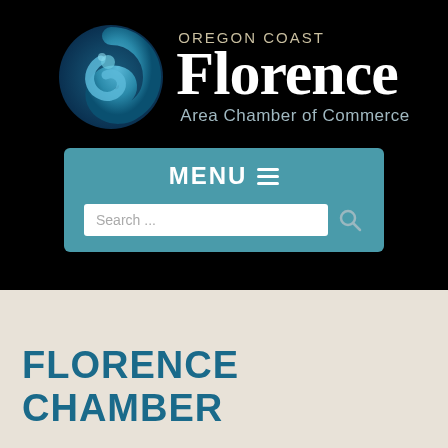[Figure (logo): Oregon Coast Florence Area Chamber of Commerce logo with teal swirl emblem on black background, featuring MENU bar with hamburger icon and Search field below]
FLORENCE CHAMBER